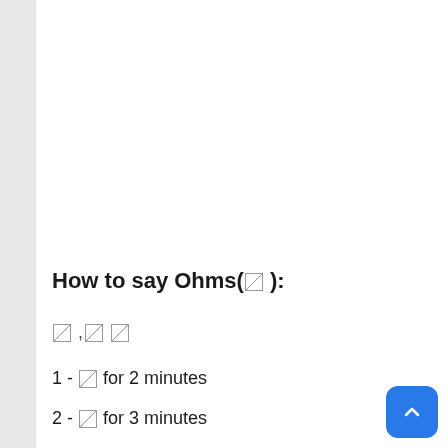How to say Ohms(Ω ):
Ω ,Ω Ω
1 - Ω for 2 minutes
2 - Ω for 3 minutes